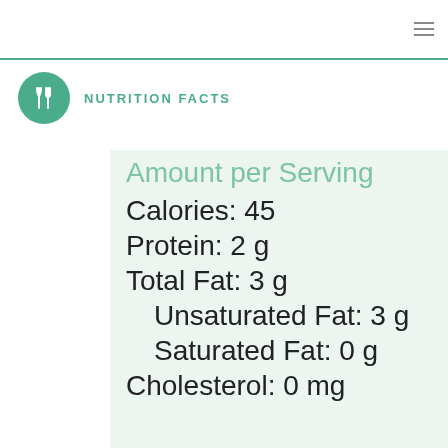≡ (hamburger menu)
NUTRITION FACTS
Amount per Serving
Calories: 45
Protein: 2 g
Total Fat: 3 g
Unsaturated Fat: 3 g
Saturated Fat: 0 g
Cholesterol: 0 mg